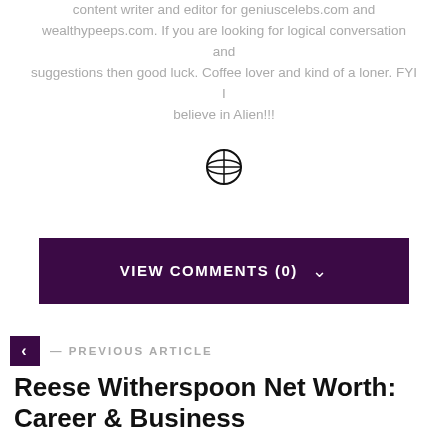content writer and editor for geniuscelebs.com and wealthypeeps.com. If you are looking for logical conversation and suggestions then good luck. Coffee lover and kind of a loner. FYI I believe in Alien!!!
[Figure (illustration): Globe/world icon (circle with latitude/longitude lines)]
VIEW COMMENTS (0)
— PREVIOUS ARTICLE
Reese Witherspoon Net Worth: Career & Business
NEXT ARTICLE —
Peter Jones Net Worth: Media &